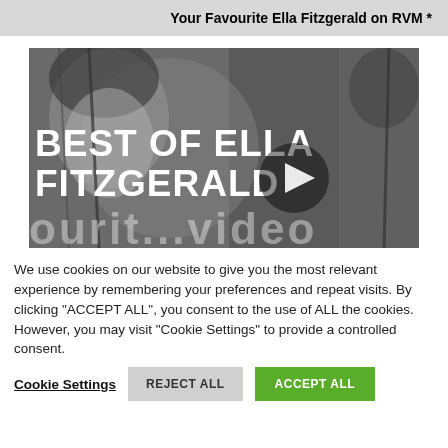Your Favourite Ella Fitzgerald on RVM *
[Figure (screenshot): Black and white video thumbnail showing Ella Fitzgerald with text overlay 'BEST OF ELLA FITZGERALD' and a play button circle in the center. Bottom shows partial text 'ourit... video'.]
We use cookies on our website to give you the most relevant experience by remembering your preferences and repeat visits. By clicking "ACCEPT ALL", you consent to the use of ALL the cookies. However, you may visit "Cookie Settings" to provide a controlled consent.
Cookie Settings   REJECT ALL   ACCEPT ALL